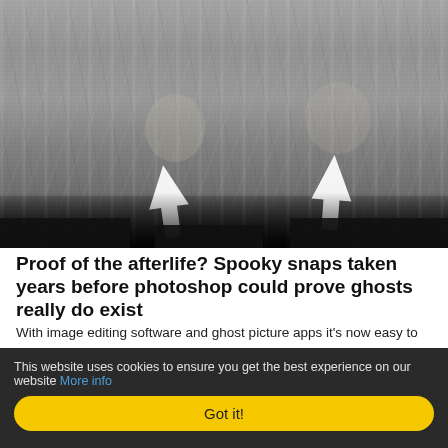[Figure (photo): A grainy black and white photograph, possibly taken from CCTV or old film, showing two faint ghost-like faces with two white arrows pointing up toward them. The bottom of the image is very dark.]
Proof of the afterlife? Spooky snaps taken years before photoshop could prove ghosts really do exist
With image editing software and ghost picture apps it's now easy to fake spooky snaps but these eerie photographs – taken years before pho... read more>>
This website uses cookies to ensure you get the best experience on our website More info
Got it!